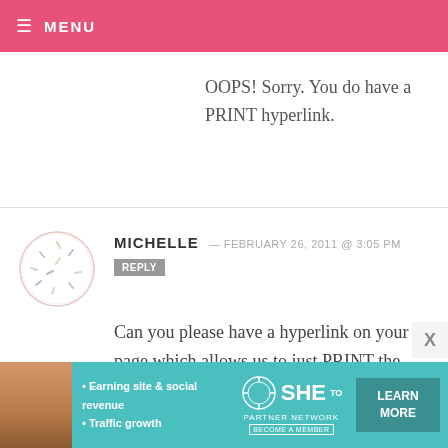☰ MENU
OOPS! Sorry. You do have a PRINT hyperlink.
MICHELLE — FEBRUARY 26, 2011 @ 3:05 PM
REPLY
Can you please have a hyperlink on your page which allows us to just PRINT the recipe and not the entire section? Your site is great! One of the BEST I've been. Thank you!
[Figure (infographic): SHE Partner Network advertisement banner with photo, bullet points, logo, and Learn More button]